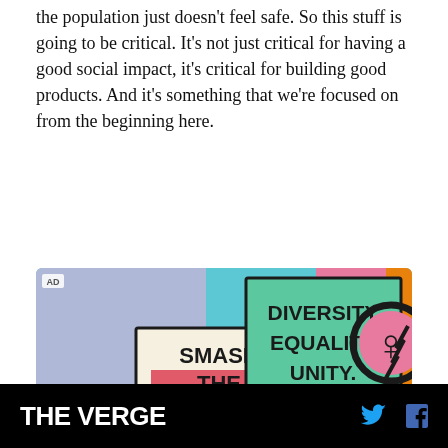the population just doesn't feel safe. So this stuff is going to be critical. It's not just critical for having a good social impact, it's critical for building good products. And it's something that we're focused on from the beginning here.
[Figure (illustration): Colorful illustration of protest signs with slogans: Smash the Patriarchy, Diversity Equality Unity, No More Silence End Gun, Enough is Enough, Protect Kids, along with a female symbol and peace sign. AD badge in top-left corner.]
THE VERGE